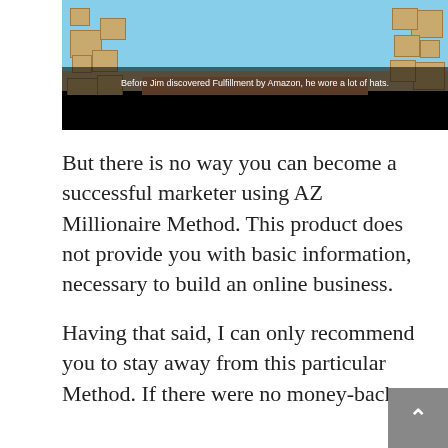[Figure (screenshot): Video screenshot showing animated character wearing apron and hats behind a desk surrounded by boxes. Subtitle reads: Before Jim discovered Fulfillment by Amazon, he wore a lot of hats.]
But there is no way you can become a successful marketer using AZ Millionaire Method. This product does not provide you with basic information, necessary to build an online business.
Having that said, I can only recommend you to stay away from this particular Method. If there were no money-back